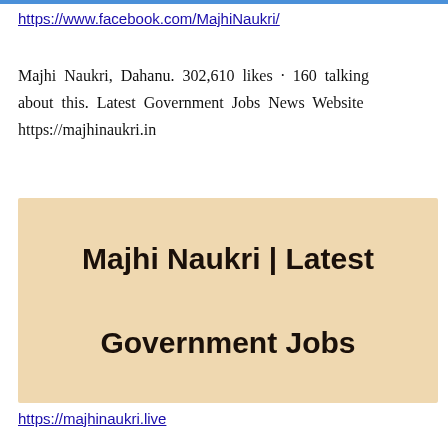https://www.facebook.com/MajhiNaukri/
Majhi Naukri, Dahanu. 302,610 likes · 160 talking about this. Latest Government Jobs News Website https://majhinaukri.in
[Figure (illustration): Beige/tan colored banner image with bold black text reading 'Majhi Naukri | Latest Government Jobs']
https://majhinaukri.live